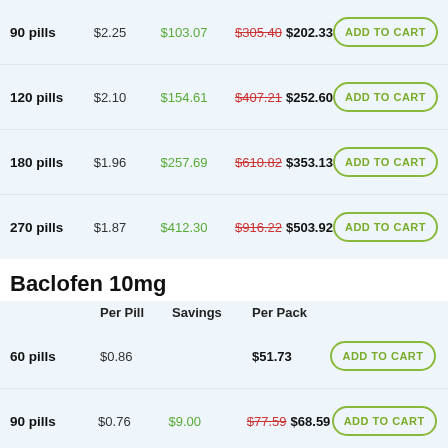|  | Per Pill | Savings | Per Pack |  |
| --- | --- | --- | --- | --- |
| 90 pills | $2.25 | $103.07 | $305.40 $202.33 | ADD TO CART |
| 120 pills | $2.10 | $154.61 | $407.21 $252.60 | ADD TO CART |
| 180 pills | $1.96 | $257.69 | $610.82 $353.13 | ADD TO CART |
| 270 pills | $1.87 | $412.30 | $916.22 $503.92 | ADD TO CART |
Baclofen 10mg
|  | Per Pill | Savings | Per Pack |  |
| --- | --- | --- | --- | --- |
| 60 pills | $0.86 |  | $51.73 | ADD TO CART |
| 90 pills | $0.76 | $9.00 | $77.59 $68.59 | ADD TO CART |